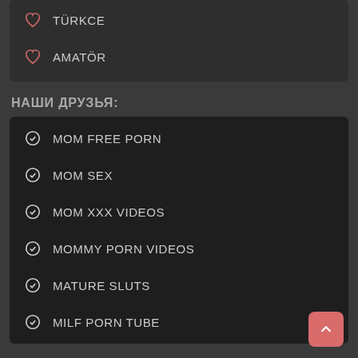TÜRKCE
AMATÖR
НАШИ ДРУЗЬЯ:
MOM FREE PORN
MOM SEX
MOM XXX VIDEOS
MOMMY PORN VIDEOS
MATURE SLUTS
MILF PORN TUBE